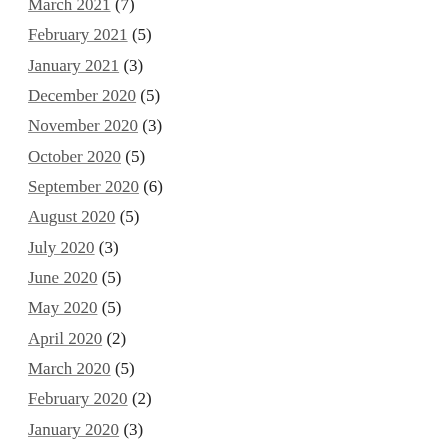March 2021 (7)
February 2021 (5)
January 2021 (3)
December 2020 (5)
November 2020 (3)
October 2020 (5)
September 2020 (6)
August 2020 (5)
July 2020 (3)
June 2020 (5)
May 2020 (5)
April 2020 (2)
March 2020 (5)
February 2020 (2)
January 2020 (3)
December 2019 (2)
November 2019 (3)
October 2019 (1)
September 2019 (4)